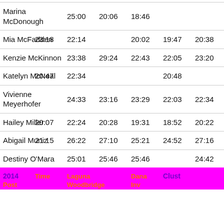| Name | 2014 Post | Time | Laguna | Woodbridge | Dana | Clust Inv |
| --- | --- | --- | --- | --- | --- | --- |
| Marina McDonough |  | 25:00 | 20:06 | 18:46 |  |  |
| Mia McFadden | 23:18 | 22:14 |  | 20:02 | 19:47 | 20:38 |
| Kenzie McKinnon |  | 23:38 | 29:24 | 22:43 | 22:05 | 23:20 |
| Katelyn McNeal | 20:47 | 22:34 |  |  | 20:48 |  |
| Vivienne Meyerhofer |  | 24:33 | 23:16 | 23:29 | 22:03 | 22:34 |
| Hailey Miller | 20:07 | 22:24 | 20:28 | 19:31 | 18:52 | 20:22 |
| Abigail Muniz | 21:15 | 26:22 | 27:10 | 25:21 | 24:52 | 27:16 |
| Destiny O'Mara |  | 25:01 | 25:46 | 25:46 |  | 24:42 |